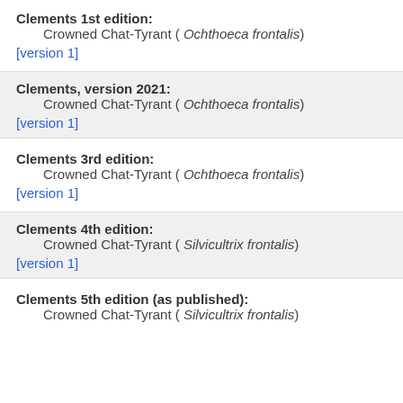Clements 1st edition:
Crowned Chat-Tyrant ( Ochthoeca frontalis)
[version 1]
Clements, version 2021:
Crowned Chat-Tyrant ( Ochthoeca frontalis)
[version 1]
Clements 3rd edition:
Crowned Chat-Tyrant ( Ochthoeca frontalis)
[version 1]
Clements 4th edition:
Crowned Chat-Tyrant ( Silvicultrix frontalis)
[version 1]
Clements 5th edition (as published):
Crowned Chat-Tyrant ( Silvicultrix frontalis)